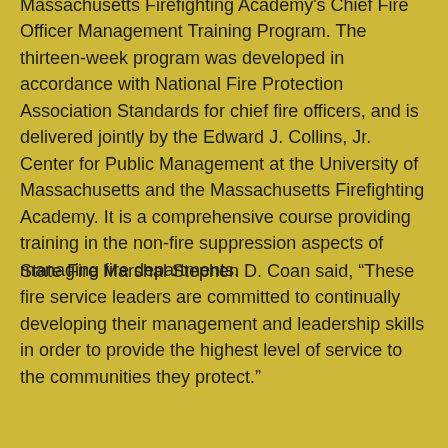Massachusetts Firefighting Academy's Chief Fire Officer Management Training Program. The thirteen-week program was developed in accordance with National Fire Protection Association Standards for chief fire officers, and is delivered jointly by the Edward J. Collins, Jr. Center for Public Management at the University of Massachusetts and the Massachusetts Firefighting Academy. It is a comprehensive course providing training in the non-fire suppression aspects of managing fire departments.
State Fire Marshal Stephen D. Coan said, “These fire service leaders are committed to continually developing their management and leadership skills in order to provide the highest level of service to the communities they protect.”